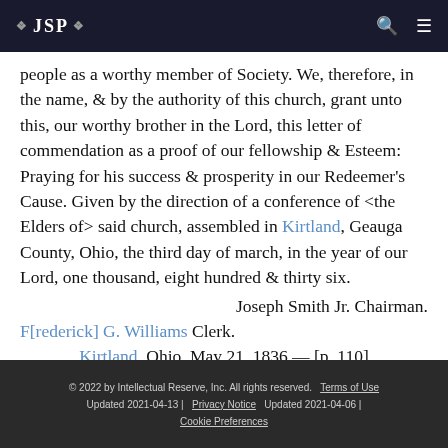❖ JSP ❖
people as a worthy member of Society. We, therefore, in the name, & by the authority of this church, grant unto this, our worthy brother in the Lord, this letter of commendation as a proof of our fellowship & Esteem: Praying for his success & prosperity in our Redeemer's Cause. Given by the direction of a conference of <the Elders of> said church, assembled in Kirtland, Geauga County, Ohio, the third day of march, in the year of our Lord, one thousand, eight hundred & thirty six.
Joseph Smith Jr. Chairman.
F[rederick] G. Williams Clerk.
Kirtland, Ohio, May 21, 1836.— [p. 110]
© 2022 by Intellectual Reserve, Inc. All rights reserved.   Terms of Use  Updated 2021-04-13 |   Privacy Notice   Updated 2021-04-06 |  Cookie Preferences